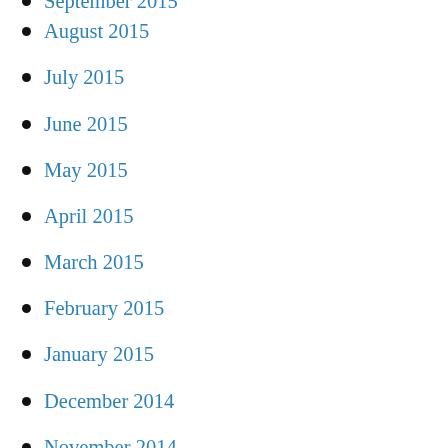September 2015
August 2015
July 2015
June 2015
May 2015
April 2015
March 2015
February 2015
January 2015
December 2014
November 2014
Privacy & Cookies: This site uses cookies. By continuing to use this website, you agree to their use.
To find out more, including how to control cookies, see here:
Cookie Policy
May 2014